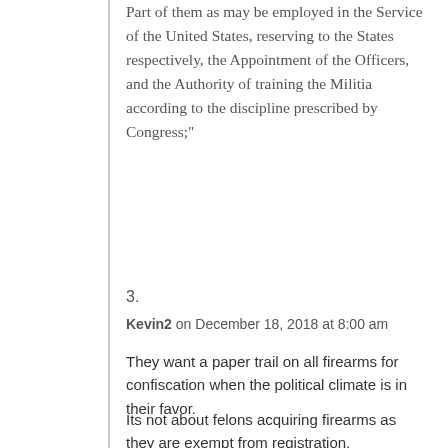Part of them as may be employed in the Service of the United States, reserving to the States respectively, the Appointment of the Officers, and the Authority of training the Militia according to the discipline prescribed by Congress;"
3.
Kevin2 on December 18, 2018 at 8:00 am
They want a paper trail on all firearms for confiscation when the political climate is in their favor.
Its not about felons acquiring firearms as they are exempt from registration.